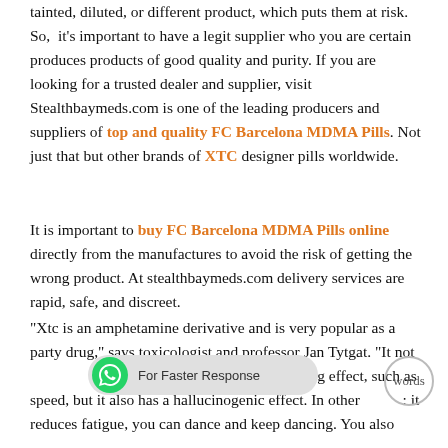tainted, diluted, or different product, which puts them at risk. So, it's important to have a legit supplier who you are certain produces products of good quality and purity. If you are looking for a trusted dealer and supplier, visit Stealthbaymeds.com is one of the leading producers and suppliers of top and quality FC Barcelona MDMA Pills. Not just that but other brands of XTC designer pills worldwide.
It is important to buy FC Barcelona MDMA Pills online directly from the manufactures to avoid the risk of getting the wrong product. At stealthbaymeds.com delivery services are rapid, safe, and discreet.
"Xtc is an amphetamine derivative and is very popular as a party drug," says toxicologist and professor Jan Tytgat. "It not only has a stimulating and euphorizing effect, such as speed, but it also has a hallucinogenic effect. In other words: it reduces fatigue, you can dance and keep dancing. You also
[Figure (other): WhatsApp 'For Faster Response' chat bar overlay and a circle with the text 'words' partially visible]